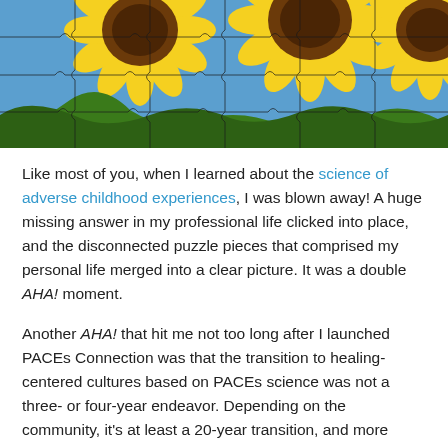[Figure (photo): A jigsaw puzzle image of sunflowers with yellow petals and green leaves against a blue sky background. The puzzle pieces outlines are visible as dark lines over the image.]
Like most of you, when I learned about the science of adverse childhood experiences, I was blown away! A huge missing answer in my professional life clicked into place, and the disconnected puzzle pieces that comprised my personal life merged into a clear picture. It was a double AHA! moment.
Another AHA! that hit me not too long after I launched PACEs Connection was that the transition to healing-centered cultures based on PACEs science was not a three- or four-year endeavor. Depending on the community, it's at least a 20-year transition, and more likely, a 30- to 40-year transition.